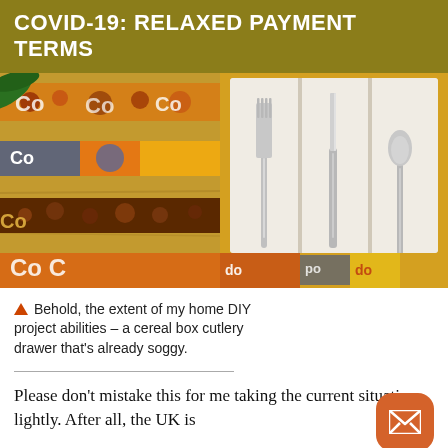COVID-19: RELAXED PAYMENT TERMS
[Figure (photo): Two photos side by side: left photo shows a DIY placemat/table runner made from colorful cereal boxes on a wooden table; right photo shows a cereal box repurposed as a cutlery drawer organizer holding a fork, knife, and spoon.]
▲ Behold, the extent of my home DIY project abilities – a cereal box cutlery drawer that's already soggy.
Please don't mistake this for me taking the current situation lightly. After all, the UK is